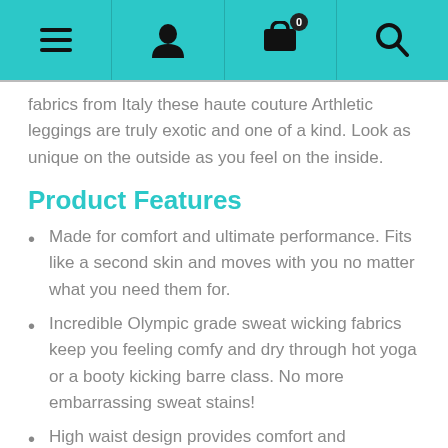Navigation bar with menu, user, cart (0), and search icons
fabrics from Italy these haute couture Arthletic leggings are truly exotic and one of a kind.  Look as unique on the outside as you feel on the inside.
Product Features
Made for comfort and ultimate performance. Fits like a second skin and moves with you no matter what you need them for.
Incredible Olympic grade sweat wicking fabrics keep you feeling comfy and dry through hot yoga or a booty kicking barre class. No more embarrassing sweat stains!
High waist design provides comfort and